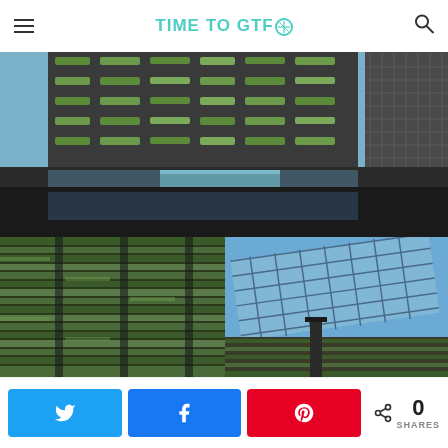TIME TO GTFO
[Figure (photo): Collage of three architectural photos showing a modern residential tower with vertical gardens/green walls and balconies, a rooftop pool area between buildings, a close-up of a green wall facade, and a glass/metal canopy structure against a blue sky.]
N | k | A | < 0 SHARES